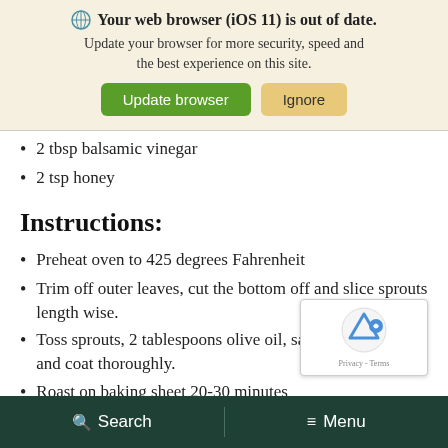[Figure (screenshot): Browser update notification banner with globe icon, bold text 'Your web browser (iOS 11) is out of date.', subtitle text, and two buttons: green 'Update browser' and tan 'Ignore']
2 tbsp balsamic vinegar
2 tsp honey
Instructions:
Preheat oven to 425 degrees Fahrenheit
Trim off outer leaves, cut the bottom off and slice sprouts length wise.
Toss sprouts, 2 tablespoons olive oil, salt and pepper, and coat thoroughly.
Roast on baking sheet 20-30 minutes until tender and caramelized
Search   Menu